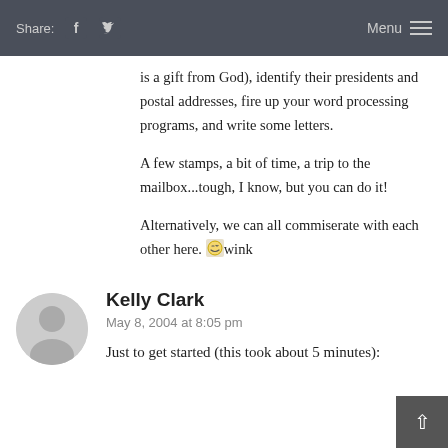Share: [facebook] [twitter]  Menu ≡
is a gift from God), identify their presidents and postal addresses, fire up your word processing programs, and write some letters.
A few stamps, a bit of time, a trip to the mailbox...tough, I know, but you can do it!
Alternatively, we can all commiserate with each other here. [wink]
Kelly Clark
May 8, 2004 at 8:05 pm
Just to get started (this took about 5 minutes):